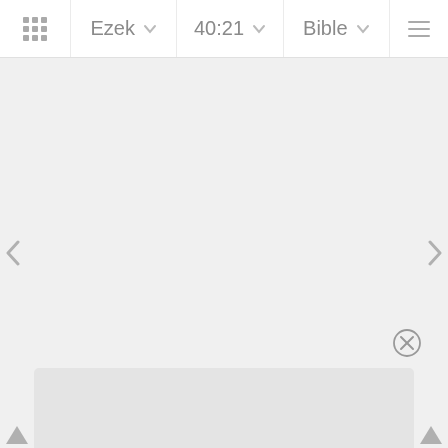Ezek  40:21  Bible
[Figure (screenshot): Bible app interface showing navigation bar with book selector (Ezek), chapter:verse selector (40:21), Bible version selector, and menu icon. Main content area is blank/loading with left and right navigation arrows on sides. A close (X) button appears near bottom right. A bottom panel slides up from the bottom edge. Bottom corner navigation triangles are visible.]